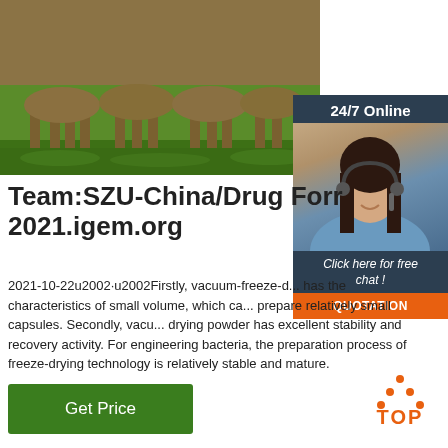[Figure (photo): Photo of cattle/deer standing on green grass, cropped to show legs and lower bodies]
Team:SZU-China/Drug Forr 2021.igem.org
2021-10-22u2002·u2002Firstly, vacuum-freeze-d... has the characteristics of small volume, which ca... prepare relatively small capsules. Secondly, vacu... drying powder has excellent stability and recovery activity. For engineering bacteria, the preparation process of freeze-drying technology is relatively stable and mature.
[Figure (screenshot): 24/7 Online chat widget with agent photo, 'Click here for free chat!' text, and QUOTATION button]
Get Price
[Figure (logo): TOP logo with orange dots arranged in triangle above the word TOP in orange]